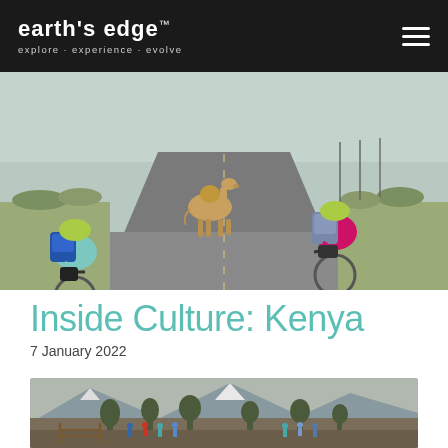earth's edge™ explore · experience · evolve
[Figure (photo): Two cyclists with backpacks and helmets riding away on a flat road in Kenya, with a camel crossing the road in front of them. Arid savanna landscape in the background.]
Inside Culture: Kenya
7 January 2022
[Figure (photo): Group of hikers standing near a wooden fence/gate on a rocky mountain trail in Kenya, with tall endemic giant groundsel trees and snow-capped peaks visible in the background.]